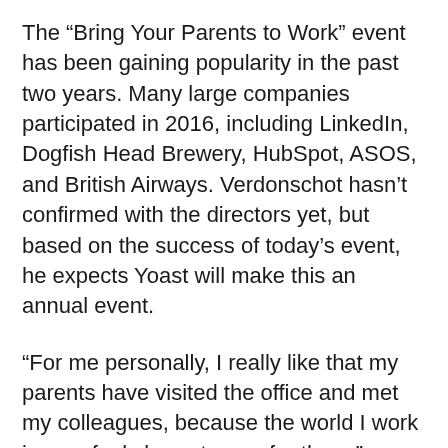The “Bring Your Parents to Work” event has been gaining popularity in the past two years. Many large companies participated in 2016, including LinkedIn, Dogfish Head Brewery, HubSpot, ASOS, and British Airways. Verdonschot hasn’t confirmed with the directors yet, but based on the success of today’s event, he expects Yoast will make this an annual event.
“For me personally, I really like that my parents have visited the office and met my colleagues, because the world I work in now feels less strange for them,” Verdonschot said.
Category: Events, News
Tags: yoast